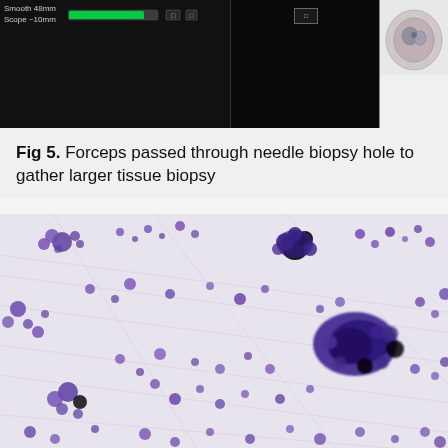[Figure (screenshot): Medical imaging interface screenshot showing ultrasound/endoscopy equipment UI with green bar indicators, scope measurements (Smooth 48mm, Scope ~10mm), numeric displays, and a small thumbnail image on the right showing what appears to be a circular tissue view.]
Fig 5. Forceps passed through needle biopsy hole to gather larger tissue biopsy
[Figure (photo): Microscopy image showing histological slide with purple-stained cells scattered across a light lavender/white background with fibrous tissue striations. Purple cell clusters of varying sizes are distributed throughout, with a dense cluster visible in the lower right area. Typical of a cytology or histopathology specimen.]